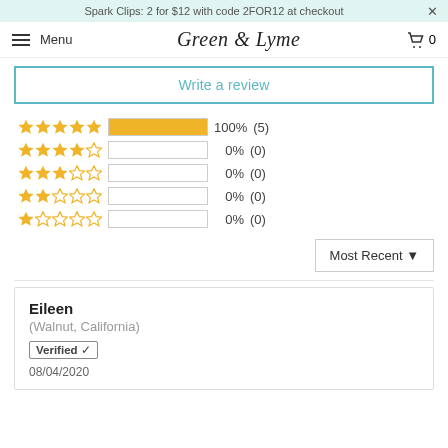Spark Clips: 2 for $12 with code 2FOR12 at checkout
Green & Lyme   Menu   0
Write a review
[Figure (bar-chart): Star rating distribution]
Most Recent
Eileen
(Walnut, California)
Verified ✓
08/04/2020